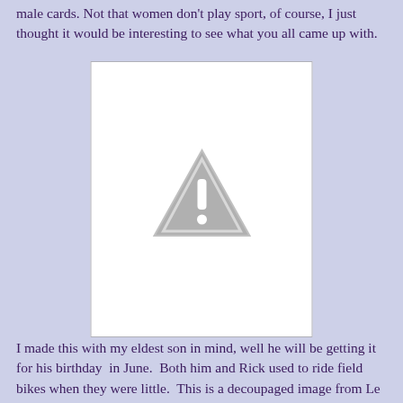male cards. Not that women don't play sport, of course, I just thought it would be interesting to see what you all came up with.
[Figure (photo): A white rectangular card image placeholder with a grey warning triangle icon (exclamation mark) in the center, indicating a missing or unavailable image.]
I made this with my eldest son in mind, well he will be getting it for his birthday in June. Both him and Rick used to ride field bikes when they were little. This is a decoupaged image from Le Suh and I stamped all the words with my LOTV stamp, added black gems and black ribbon across the middle. The color card be